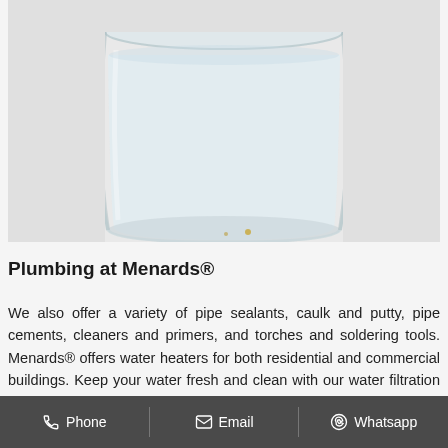[Figure (photo): A clear glass filled with water, photographed on a white background. The glass is cylindrical with a thick base. Small particles visible at the bottom.]
Plumbing at Menards®
We also offer a variety of pipe sealants, caulk and putty, pipe cements, cleaners and primers, and torches and soldering tools. Menards® offers water heaters for both residential and commercial buildings. Keep your water fresh and clean with our water filtration and softeners. If you use well water, we
Phone   Email   Whatsapp